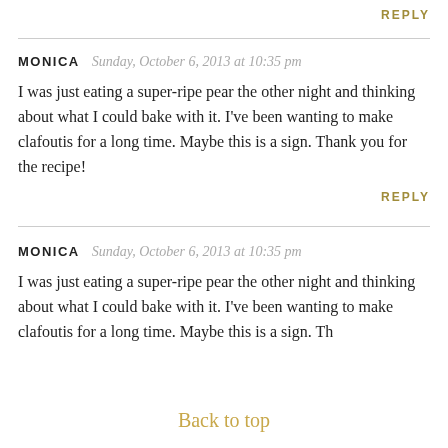REPLY
MONICA   Sunday, October 6, 2013 at 10:35 pm
I was just eating a super-ripe pear the other night and thinking about what I could bake with it. I've been wanting to make clafoutis for a long time. Maybe this is a sign. Thank you for the recipe!
REPLY
MONICA   Sunday, October 6, 2013 at 10:35 pm
I was just eating a super-ripe pear the other night and thinking about what I could bake with it. I've been wanting to make clafoutis for a long time. Maybe this is a sign. Thank you for the recipe!
Back to top